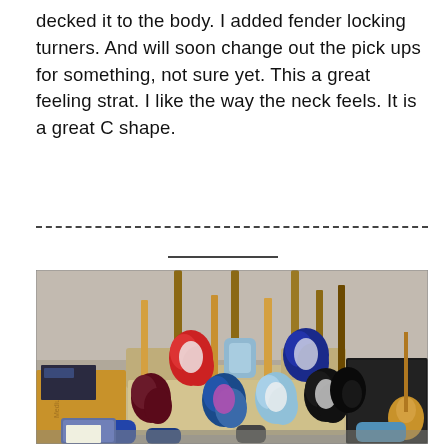decked it to the body. I added fender locking turners. And will soon change out the pick ups for something, not sure yet. This a great feeling strat. I like the way the neck feels. It is a great C shape.
[Figure (photo): A collection of electric guitars (stratocasters and other styles) in various colors including red, blue, light blue, black, and others, propped against a couch and surrounding area in what appears to be a home setting.]